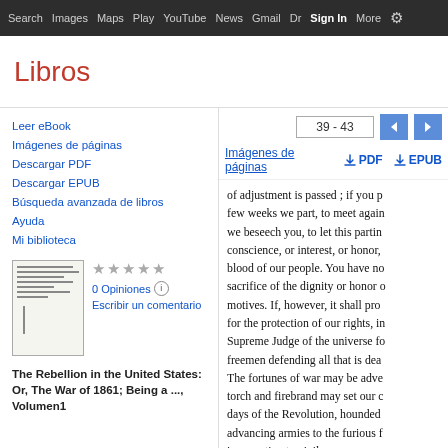Search Images Maps Play YouTube News Gmail Dr Sign In More ⚙
Libros
39 - 43
Imágenes de páginas  PDF  EPUB
Leer eBook
Imágenes de páginas
Descargar PDF
Descargar EPUB
Búsqueda avanzada de libros
Ayuda
Mi biblioteca
0 Opiniones
Escribir un comentario
The Rebellion in the United States: Or, The War of 1861; Being a ..., Volumen1
of adjustment is passed ; if you p few weeks we part, to meet again we beseech you, to let this partin conscience, or interest, or honor, blood of our people. You have no sacrifice of the dignity or honor o motives. If, however, it shall pro for the protection of our rights, in Supreme Judge of the universe fo freemen defending all that is dea The fortunes of war may be adve torch and firebrand may set our c days of the Revolution, hounded advancing armies to the furious f insurrection to civil war; you ma